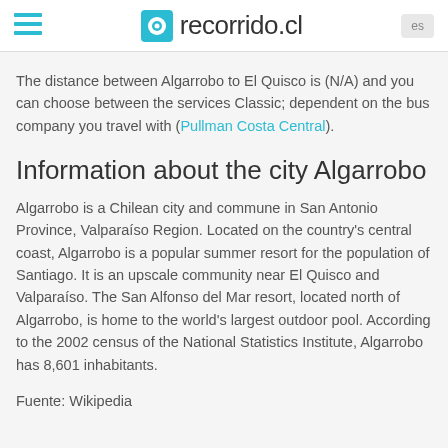recorrido.cl
The distance between Algarrobo to El Quisco is (N/A) and you can choose between the services Classic; dependent on the bus company you travel with (Pullman Costa Central).
Information about the city Algarrobo
Algarrobo is a Chilean city and commune in San Antonio Province, Valparaíso Region. Located on the country's central coast, Algarrobo is a popular summer resort for the population of Santiago. It is an upscale community near El Quisco and Valparaíso. The San Alfonso del Mar resort, located north of Algarrobo, is home to the world's largest outdoor pool. According to the 2002 census of the National Statistics Institute, Algarrobo has 8,601 inhabitants.
Fuente: Wikipedia